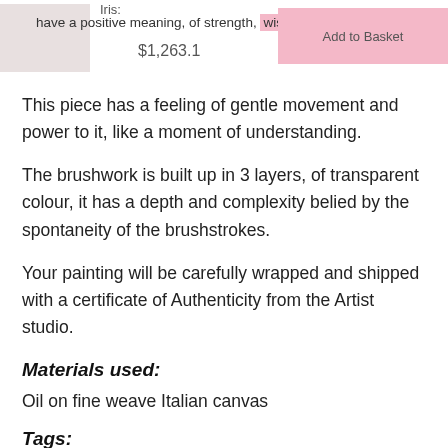Iris: have a positive meaning, of strength, wisdom an insight. $1,263.1   Add to Basket
This piece has a feeling of gentle movement and power to it, like a moment of understanding.
The brushwork is built up in 3 layers, of transparent colour, it has a depth and complexity belied by the spontaneity of the brushstrokes.
Your painting will be carefully wrapped and shipped with a certificate of Authenticity from the Artist studio.
Materials used:
Oil on fine weave Italian canvas
Tags:
#black and white
#yellow
#flower
#square